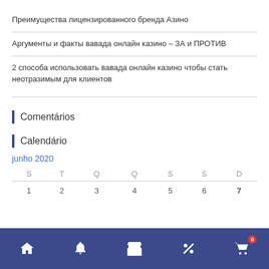Преимущества лицензированного бренда Азино
Аргументы и факты вавада онлайн казино – ЗА и ПРОТИВ
2 способа использовать вавада онлайн казино чтобы стать неотразимым для клиентов
Comentários
Calendário
junho 2020
| S | T | Q | Q | S | S | D |
| --- | --- | --- | --- | --- | --- | --- |
| 1 | 2 | 3 | 4 | 5 | 6 | 7 |
[Figure (other): Bottom navigation bar with home, bell, store, percent, and cart (badge: 0) icons on dark blue background]